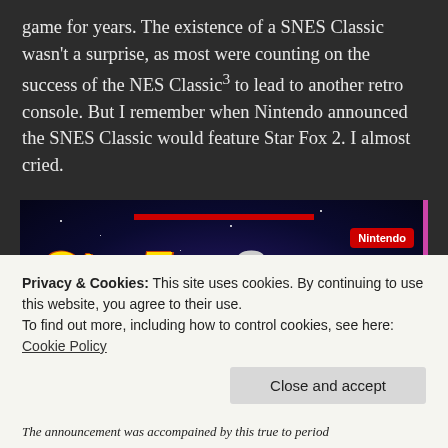game for years. The existence of a SNES Classic wasn't a surprise, as most were counting on the success of the NES Classic³ to lead to another retro console. But I remember when Nintendo announced the SNES Classic would feature Star Fox 2. I almost cried.
[Figure (screenshot): Star Fox 2 game box art / promotional screenshot showing the Star Fox 2 logo in yellow italic text, the number 2 in silver, Nintendo badge in red top right, tagline 'Pilot Cutting-Edge Ships Alongside New Teammates to Defend the Lylat System!', cartoon animal characters at bottom, space background.]
Privacy & Cookies: This site uses cookies. By continuing to use this website, you agree to their use.
To find out more, including how to control cookies, see here: Cookie Policy
The announcement was accompained by this true to period